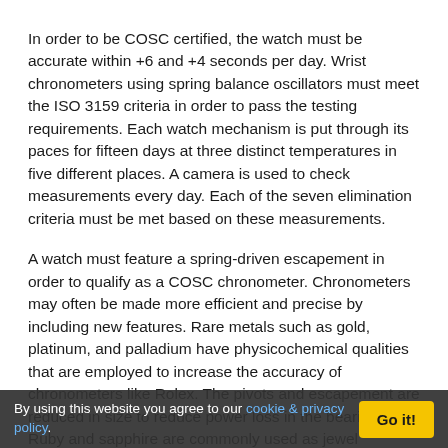In order to be COSC certified, the watch must be accurate within +6 and +4 seconds per day. Wrist chronometers using spring balance oscillators must meet the ISO 3159 criteria in order to pass the testing requirements. Each watch mechanism is put through its paces for fifteen days at three distinct temperatures in five different places. A camera is used to check measurements every day. Each of the seven elimination criteria must be met based on these measurements.
A watch must feature a spring-driven escapement in order to qualify as a COSC chronometer. Chronometers may often be made more efficient and precise by including new features. Rare metals such as gold, platinum, and palladium have physicochemical qualities that are employed to increase the accuracy of chronometers like Rolex. The pivots and escapement are reduced in size to reduce power loss in the bearings. Ruby and sapphire are commonly used as jewel bearings. Variations in temperature cause changes in the
By using this website you agree to our cookie & privacy policy.